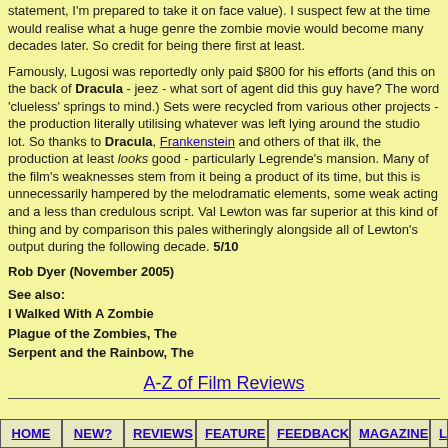statement, I'm prepared to take it on face value). I suspect few at the time would realise what a huge genre the zombie movie would become many decades later. So credit for being there first at least.
Famously, Lugosi was reportedly only paid $800 for his efforts (and this on the back of Dracula - jeez - what sort of agent did this guy have? The word 'clueless' springs to mind.) Sets were recycled from various other projects - the production literally utilising whatever was left lying around the studio lot. So thanks to Dracula, Frankenstein and others of that ilk, the production at least looks good - particularly Legrende's mansion. Many of the film's weaknesses stem from it being a product of its time, but this is unnecessarily hampered by the melodramatic elements, some weak acting and a less than credulous script. Val Lewton was far superior at this kind of thing and by comparison this pales witheringly alongside all of Lewton's output during the following decade. 5/10
Rob Dyer (November 2005)
See also:
I Walked With A Zombie
Plague of the Zombies, The
Serpent and the Rainbow, The
A-Z of Film Reviews
HOME | NEW? | REVIEWS | FEATURE | FEEDBACK | MAGAZINE | LIN